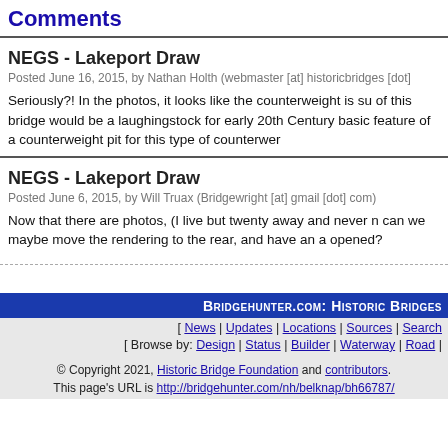Comments
NEGS - Lakeport Draw
Posted June 16, 2015, by Nathan Holth (webmaster [at] historicbridges [dot]
Seriously?! In the photos, it looks like the counterweight is sub... of this bridge would be a laughingstock for early 20th Century... basic feature of a counterweight pit for this type of counterwer...
NEGS - Lakeport Draw
Posted June 6, 2015, by Will Truax (Bridgewright [at] gmail [dot] com)
Now that there are photos, (I live but twenty away and never n... can we maybe move the rendering to the rear, and have an a... opened?
BRIDGEHUNTER.COM: HISTORIC BRIDGES
[ News | Updates | Locations | Sources | Search
[ Browse by: Design | Status | Builder | Waterway | Road |
© Copyright 2021, Historic Bridge Foundation and contributors. This page's URL is http://bridgehunter.com/nh/belknap/bh66787/